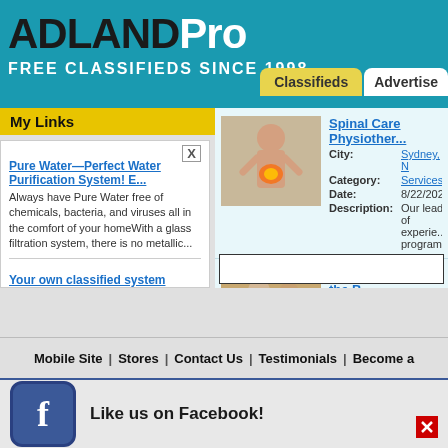ADLANDPro
FREE CLASSIFIEDS SINCE 1998
My Links
Pure Water—Perfect Water Purification System! E... Always have Pure Water free of chemicals, bacteria, and viruses all in the comfort of your homeWith a glass filtration system, there is no metallic...
Your own classified system Earn 100% commissions
Due Diligence and M&A Acvisory Services We offer affordable due diligence services for business acquisitions.
Spinal Care Physiother... City: Sydney, N Category: Services Date: 8/22/202... Description: Our leadi... of experie... programs...
Tips for Choosing the B... City: Sydney, N Category: Services Date: 8/22/202... Description: Choosing... you and y... that you c...
Mobile Site | Stores | Contact Us | Testimonials | Become a... Copyright 1998 - 2022, All rig
Like us on Facebook!